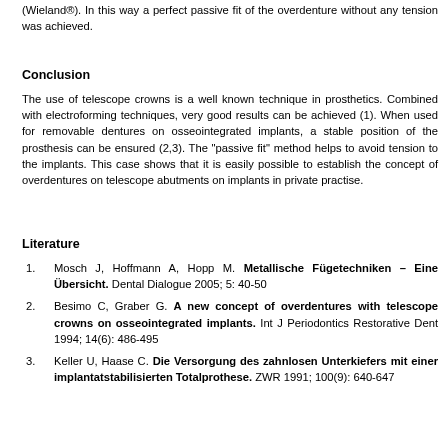(Wieland®). In this way a perfect passive fit of the overdenture without any tension was achieved.
Conclusion
The use of telescope crowns is a well known technique in prosthetics. Combined with electroforming techniques, very good results can be achieved (1). When used for removable dentures on osseointegrated implants, a stable position of the prosthesis can be ensured (2,3). The "passive fit" method helps to avoid tension to the implants. This case shows that it is easily possible to establish the concept of overdentures on telescope abutments on implants in private practise.
Literature
Mosch J, Hoffmann A, Hopp M. Metallische Fügetechniken – Eine Übersicht. Dental Dialogue 2005; 5: 40-50
Besimo C, Graber G. A new concept of overdentures with telescope crowns on osseointegrated implants. Int J Periodontics Restorative Dent 1994; 14(6): 486-495
Keller U, Haase C. Die Versorgung des zahnlosen Unterkiefers mit einer implantatstabilisierten Totalprothese. ZWR 1991; 100(9): 640-647